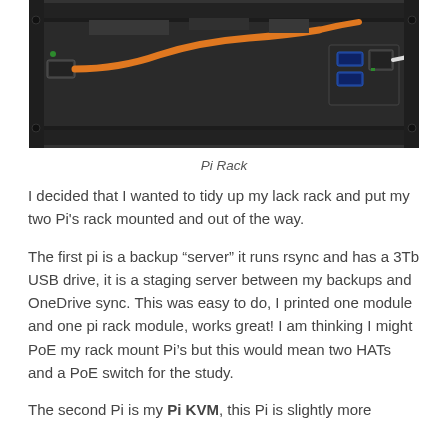[Figure (photo): Photo of a Raspberry Pi rack mounted in a black 1U rack enclosure, showing USB ports and an orange cable on the left side, and USB/Ethernet ports on the right side.]
Pi Rack
I decided that I wanted to tidy up my lack rack and put my two Pi's rack mounted and out of the way.
The first pi is a backup “server” it runs rsync and has a 3Tb USB drive, it is a staging server between my backups and OneDrive sync. This was easy to do, I printed one module and one pi rack module, works great! I am thinking I might PoE my rack mount Pi’s but this would mean two HATs and a PoE switch for the study.
The second Pi is my Pi KVM, this Pi is slightly more